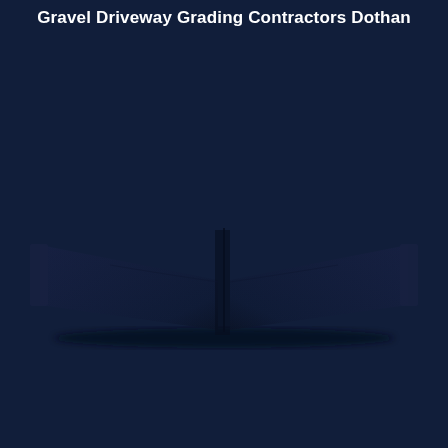Gravel Driveway Grading Contractors Dothan
[Figure (photo): Dark navy background with a shadowed open book or ramp-like shape in the center, viewed from above. The image is mostly dark navy/dark blue with subtle shadow depth showing a V-shaped or book-spine form.]